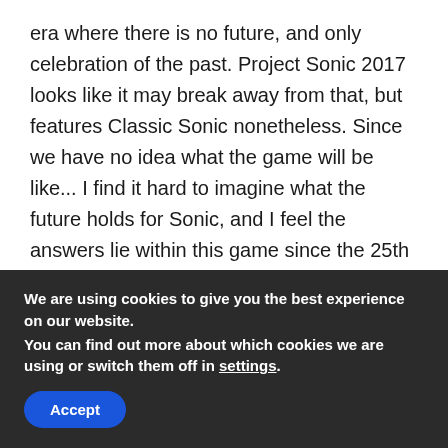era where there is no future, and only celebration of the past. Project Sonic 2017 looks like it may break away from that, but features Classic Sonic nonetheless. Since we have no idea what the game will be like... I find it hard to imagine what the future holds for Sonic, and I feel the answers lie within this game since the 25th Anniversary Party didn't really enforce any sort of direction going forward.
Like, are Classic games like Sonic Mania going to
We are using cookies to give you the best experience on our website.
You can find out more about which cookies we are using or switch them off in settings.